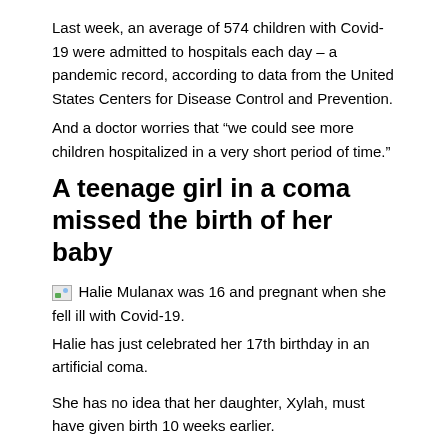Last week, an average of 574 children with Covid-19 were admitted to hospitals each day – a pandemic record, according to data from the United States Centers for Disease Control and Prevention.
And a doctor worries that “we could see more children hospitalized in a very short period of time.”
A teenage girl in a coma missed the birth of her baby
[Figure (photo): Broken image placeholder for photo of Halie Mulanax]
Halie Mulanax was 16 and pregnant when she fell ill with Covid-19.
Halie has just celebrated her 17th birthday in an artificial coma.
She has no idea that her daughter, Xylah, must have given birth 10 weeks earlier.
The family ordeal of Covid-19 has been “heapbreaking,” said